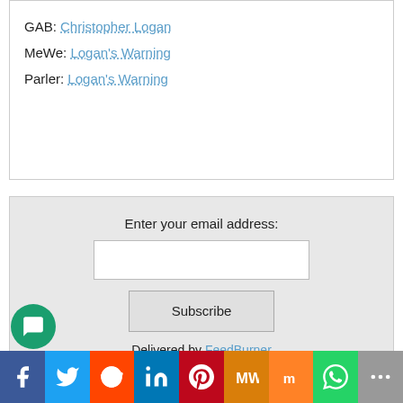GAB: Christopher Logan
MeWe: Logan's Warning
Parler: Logan's Warning
Enter your email address:
Subscribe
Delivered by FeedBurner
229CONTACT LOGAN'S WARNING